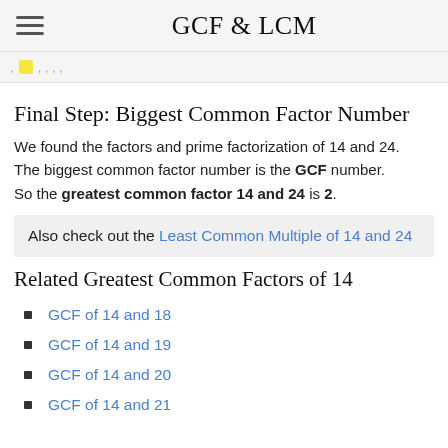GCF & LCM
Final Step: Biggest Common Factor Number
We found the factors and prime factorization of 14 and 24. The biggest common factor number is the GCF number. So the greatest common factor 14 and 24 is 2.
Also check out the Least Common Multiple of 14 and 24
Related Greatest Common Factors of 14
GCF of 14 and 18
GCF of 14 and 19
GCF of 14 and 20
GCF of 14 and 21